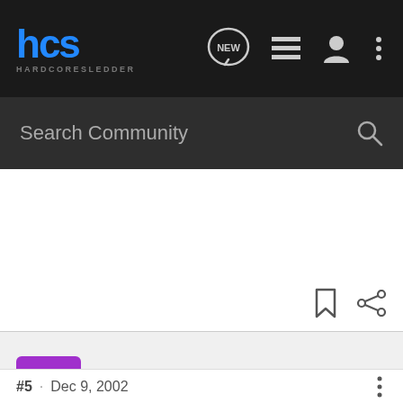hcs HARDCORESLEDDER — navigation bar with NEW, list, user, and menu icons
Search Community
[Figure (screenshot): White content area with bookmark and share icons in bottom-right corner]
teamarcticf5 · Registered
Joined Dec 4, 2002 · 504 Posts
#5 · Dec 9, 2002